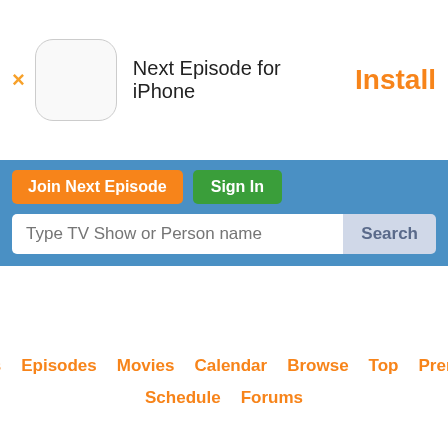[Figure (screenshot): App install banner for Next Episode for iPhone with close button, app icon placeholder, app name, and Install button]
Next Episode for iPhone
Install
Join Next Episode
Sign In
Type TV Show or Person name
Search
News
Episodes
Movies
Calendar
Browse
Top
Premium
Schedule
Forums